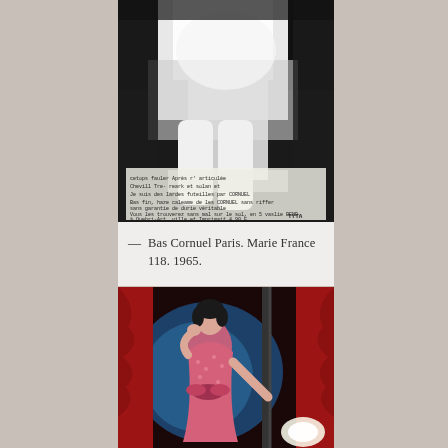[Figure (photo): Black and white photograph of a person seated, wearing white clothing, with text overlay visible at bottom of image including brand/product text referencing CORNUEL and pricing information. Label TYTA visible at bottom right.]
— Bas Cornuel Paris. Marie France 118. 1965.
[Figure (photo): Color photograph of a woman with short dark hair wearing a pink patterned dress with decorative bow/ruffle detail at waist, posed in what appears to be a theatrical or cabaret setting with red curtains and blue lighting in the background.]